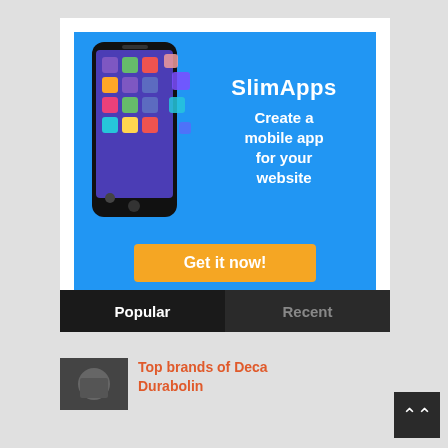[Figure (infographic): SlimApps advertisement banner. Blue background with a smartphone showing colorful app tiles flying off the screen. Text reads 'SlimApps – Create a mobile app for your website'. Orange button at the bottom says 'Get it now!']
Popular | Recent
Top brands of Deca Durabolin